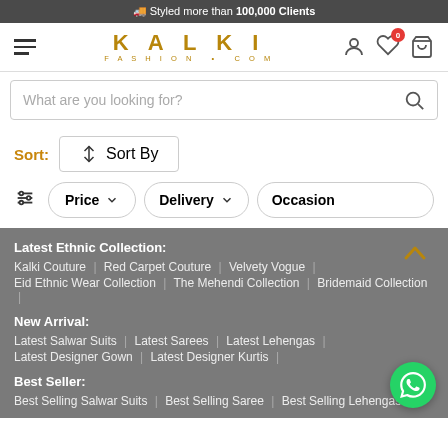🚚 Styled more than 100,000 Clients
[Figure (logo): Kalki Fashion.com logo in gold/brown color with hamburger menu and nav icons]
What are you looking for?
Sort: ↕ Sort By
Price ∨  Delivery ∨  Occasion
Latest Ethnic Collection:
Kalki Couture | Red Carpet Couture | Velvety Vogue |
Eid Ethnic Wear Collection | The Mehendi Collection | Bridemaid Collection |
New Arrival:
Latest Salwar Suits | Latest Sarees | Latest Lehengas |
Latest Designer Gown | Latest Designer Kurtis |
Best Seller:
Best Selling Salwar Suits | Best Selling Saree | Best Selling Lehengas